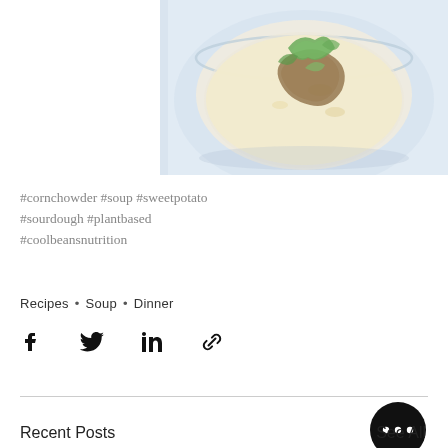[Figure (photo): A glass bowl of creamy corn chowder topped with roasted vegetables and fresh green herbs, photographed from above on a light blue surface]
#cornchowder #soup #sweetpotato #sourdough #plantbased #coolbeansnutrition
Recipes • Soup • Dinner
[Figure (infographic): Social share icons: Facebook, Twitter, LinkedIn, and link/copy icon]
Recent Posts
See All